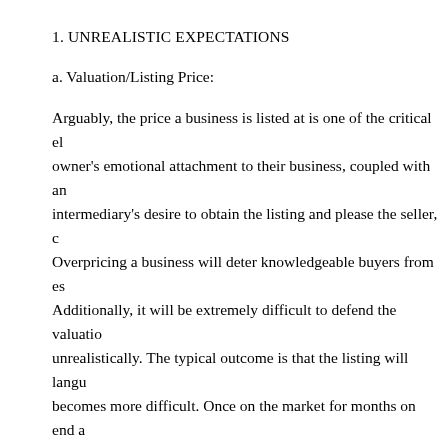1. UNREALISTIC EXPECTATIONS
a. Valuation/Listing Price:
Arguably, the price a business is listed at is one of the critical el owner's emotional attachment to their business, coupled with an intermediary's desire to obtain the listing and please the seller, c Overpricing a business will deter knowledgeable buyers from es Additionally, it will be extremely difficult to defend the valuatio unrealistically. The typical outcome is that the listing will langu becomes more difficult. Once on the market for months on end a re-pricing and re-listing creates a whole new set of challenges, t credibility.
b. Unrealistic Terms and/or Structure
Deal structure, asset allocation and tax management must be ade process. Often the Buyer and Seller place all of the focus on the